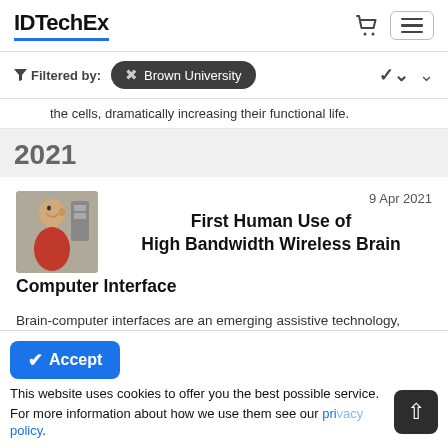IDTechEx
Filtered by: Brown University
the cells, dramatically increasing their functional life.
2021
First Human Use of High Bandwidth Wireless Brain Computer Interface
9 Apr 2021
Brain-computer interfaces are an emerging assistive technology, enabling people with paralysis to type on computer screens or manipulate robotic prostheses just by
This website uses cookies to offer you the best possible service. For more information about how we use them see our privacy policy.